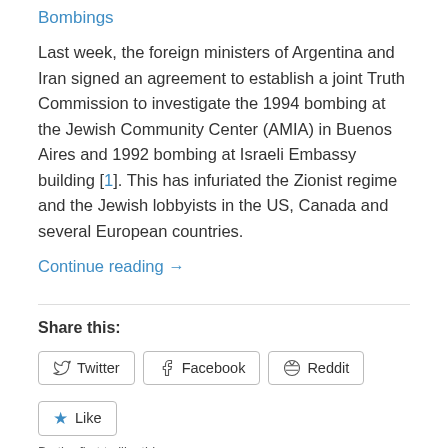Bombings
Last week, the foreign ministers of Argentina and Iran signed an agreement to establish a joint Truth Commission to investigate the 1994 bombing at the Jewish Community Center (AMIA) in Buenos Aires and 1992 bombing at Israeli Embassy building [1]. This has infuriated the Zionist regime and the Jewish lobbyists in the US, Canada and several European countries.
Continue reading →
Share this:
Twitter  Facebook  Reddit
Like
Be the first to like this.